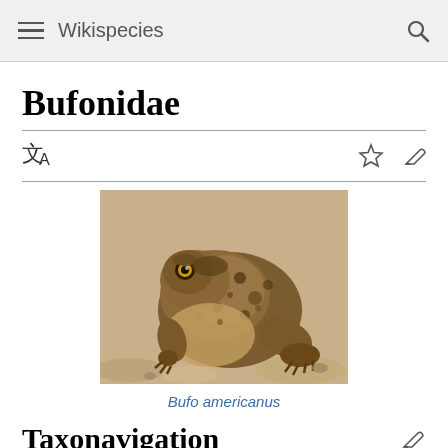Wikispecies
Bufonidae
[Figure (photo): Photo of Bufo americanus (American toad) sitting on sandy ground, brown mottled skin with warty texture, side profile view]
Bufo americanus
Taxonavigation